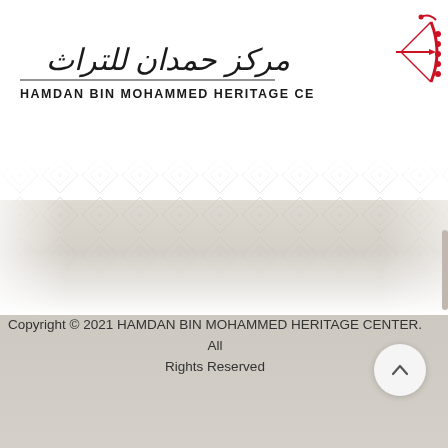[Figure (logo): Hamdan Bin Mohammed Heritage Center logo with Arabic calligraphy text and red archery figure icon]
[Figure (illustration): Decorative geometric diamond/lattice pattern band in light gray, fading in and out]
Copyright © 2021 HAMDAN BIN MOHAMMED HERITAGE CENTER. All Rights Reserved